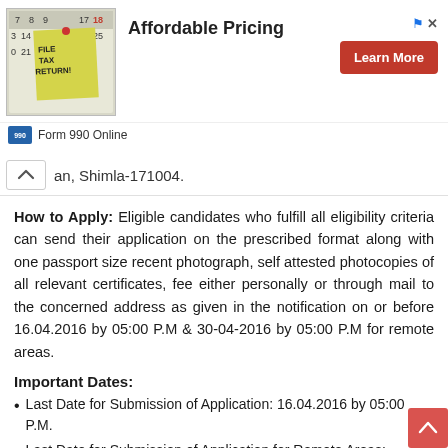[Figure (screenshot): Advertisement banner with calendar/sticky note image showing 'File Tax Return!' text, heading 'Affordable Pricing', a red 'Learn More' button, and 'Form 990 Online' logo at bottom. Corner has blue flag icon and X icon.]
an, Shimla-171004.
How to Apply: Eligible candidates who fulfill all eligibility criteria can send their application on the prescribed format along with one passport size recent photograph, self attested photocopies of all relevant certificates, fee either personally or through mail to the concerned address as given in the notification on or before 16.04.2016 by 05:00 P.M & 30-04-2016 by 05:00 P.M for remote areas.
Important Dates:
Last Date for Submission of Application: 16.04.2016 by 05:00 P.M.
Last Date for Submission of Application for Remote Areas: 30.04.2016 by 05:00 P.M.